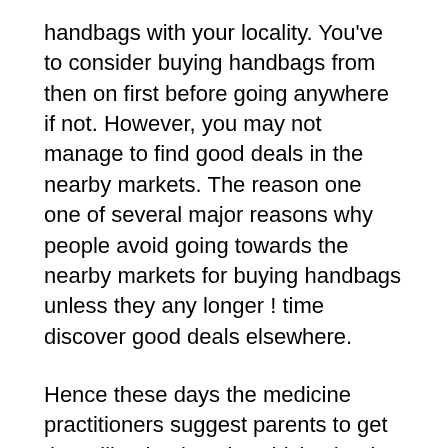handbags with your locality. You've to consider buying handbags from then on first before going anywhere if not. However, you may not manage to find good deals in the nearby markets. The reason one one of several major reasons why people avoid going towards the nearby markets for buying handbags unless they any longer ! time discover good deals elsewhere.
Hence these days the medicine practitioners suggest parents to get the rolling backpacks which wheels use is also easy for kids to drag the bag instead of straining their shoulders. Nowadays rolling backpacks are made use of by students all in the world resulting from the current work load that that.